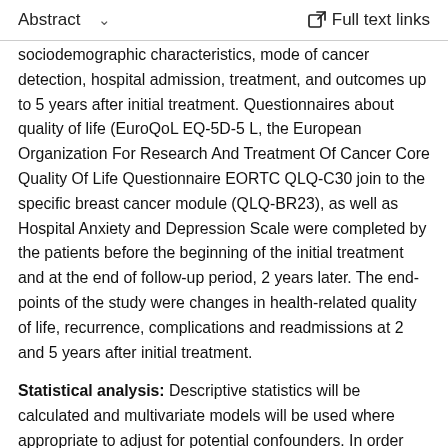Abstract   Full text links
sociodemographic characteristics, mode of cancer detection, hospital admission, treatment, and outcomes up to 5 years after initial treatment. Questionnaires about quality of life (EuroQoL EQ-5D-5 L, the European Organization For Research And Treatment Of Cancer Core Quality Of Life Questionnaire EORTC QLQ-C30 join to the specific breast cancer module (QLQ-BR23), as well as Hospital Anxiety and Depression Scale were completed by the patients before the beginning of the initial treatment and at the end of follow-up period, 2 years later. The end-points of the study were changes in health-related quality of life, recurrence, complications and readmissions at 2 and 5 years after initial treatment.
Statistical analysis: Descriptive statistics will be calculated and multivariate models will be used where appropriate to adjust for potential confounders. In order